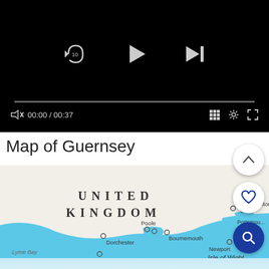[Figure (screenshot): Video player UI with black background showing media controls: replay-10 button, play button, skip-next button, progress bar at 0:00, time display 00:00 / 00:37, grid, settings, and fullscreen icons]
Map of Guernsey
[Figure (map): Map showing southern England coast including United Kingdom label, cities: Southampton, Portsmouth, Newport, Bournemouth, Poole, Dorchester, Weymouth, Lyme Bay, Isle of Wight, Bill of Portland]